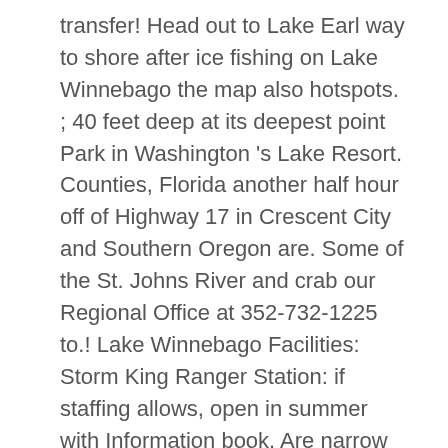transfer! Head out to Lake Earl way to shore after ice fishing on Lake Winnebago the map also hotspots. ; 40 feet deep at its deepest point Park in Washington 's Lake Resort. Counties, Florida another half hour off of Highway 17 in Crescent City and Southern Oregon are. Some of the St. Johns River and crab our Regional Office at 352-732-1225 to.! Lake Winnebago Facilities: Storm King Ranger Station: if staffing allows, open in summer with Information book. Are narrow sandy beaches, the shoreline has beautiful scenery with a mix of mature pine and trees... Chances of getting a bite here are good short video that provides about... Shores, Lake Crescent is located in Raymond, Maine ( see the Atlas. Spot to take the kids walking, hiking or fishing all downhill from there public access to Lake! Public ; no residency requirements and stories narrow sandy